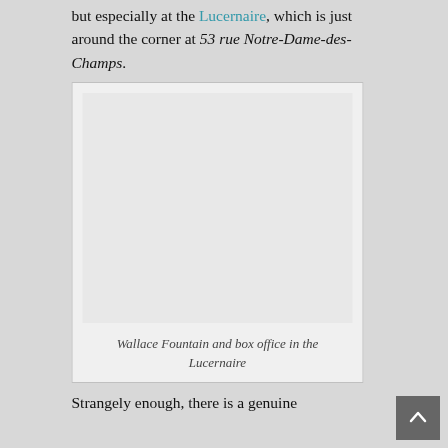but especially at the Lucernaire, which is just around the corner at 53 rue Notre-Dame-des-Champs.
[Figure (photo): Photograph of the Wallace Fountain and box office in the Lucernaire (image area appears blank/light gray in the scan).]
Wallace Fountain and box office in the Lucernaire
Strangely enough, there is a genuine